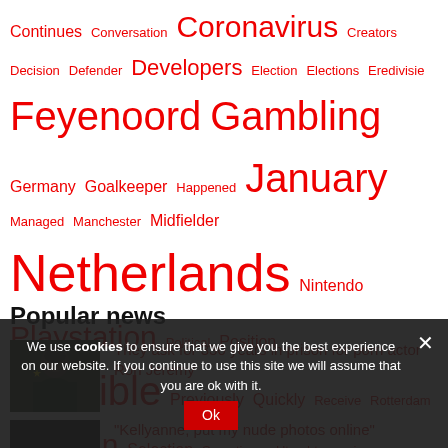[Figure (infographic): Tag cloud with words of varying sizes in red. Words include: Continues, Conversation, Coronavirus, Creators, Decision, Defender, Developers, Election, Elections, Eredivisie, Feyenoord, Gambling, Germany, Goalkeeper, Happened, January, Managed, Manchester, Midfielder, Netherlands, Nintendo, Playstation, Political, Position, Possible, Previously, Quickly, Receive, Rotterdam, Russian, Selection, Sometimes, Utrecht, vaccine]
Popular news
[Figure (photo): Thumbnail photo of an older bald man against a dark background]
They ask for 330 years in prison for porn actor Ron Jeremy
"Kellyanne, put my nude photos online"
We use cookies to ensure that we give you the best experience on our website. If you continue to use this site we will assume that you are ok with it.